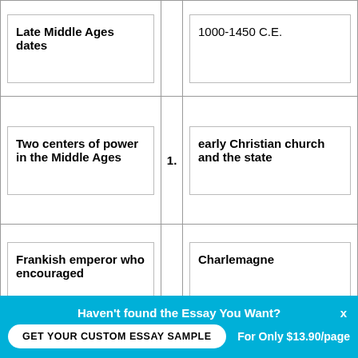| Late Middle Ages dates |  | 1000-1450 C.E. |
| Two centers of power in the Middle Ages | 1. | early Christian church and the state |
| Frankish emperor who encouraged |  | Charlemagne |
Haven't found the Essay You Want?
GET YOUR CUSTOM ESSAY SAMPLE
For Only $13.90/page